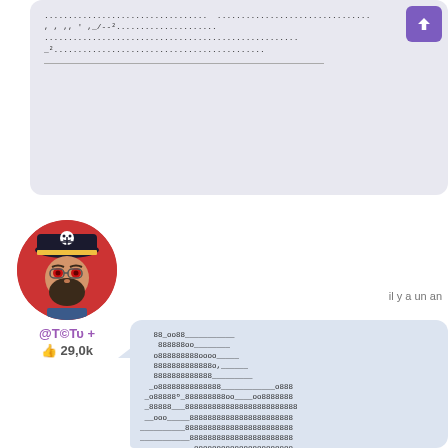[Figure (screenshot): Chat interface screenshot showing ASCII art messages. Top bubble contains dotted/dashed ASCII art lines. Bottom bubble contains ASCII art of the number 8 made from repeated '8' and 'o' characters. Left side shows a pirate avatar with username @TOFU and 29,0k likes.]
il y a un an
@TOFU +
29,0k